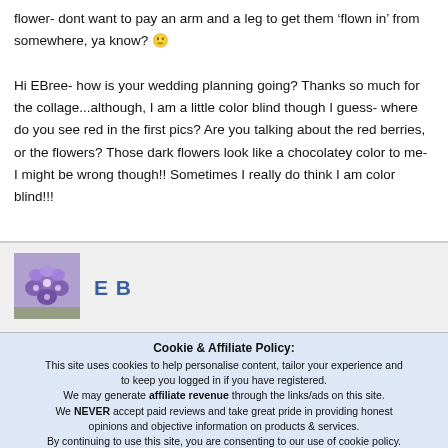flower- dont want to pay an arm and a leg to get them 'flown in' from somewhere, ya know? 🙂
Hi EBree- how is your wedding planning going? Thanks so much for the collage...although, I am a little color blind though I guess- where do you see red in the first pics? Are you talking about the red berries, or the flowers? Those dark flowers look like a chocolatey color to me- I might be wrong though!! Sometimes I really do think I am color blind!!!
[Figure (photo): Avatar image of purple/blue hydrangea flowers]
E B
Cookie & Affiliate Policy: This site uses cookies to help personalise content, tailor your experience and to keep you logged in if you have registered. We may generate affiliate revenue through the links/ads on this site. We NEVER accept paid reviews and take great pride in providing honest opinions and objective information on products & services. By continuing to use this site, you are consenting to our use of cookie policy.